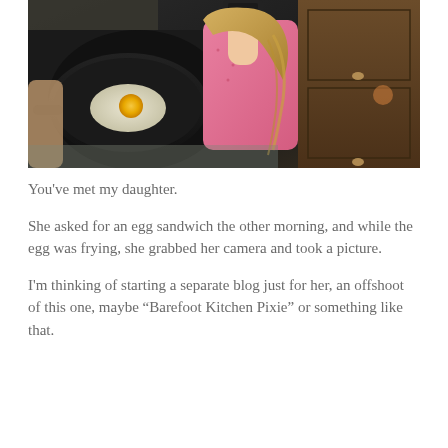[Figure (photo): A young girl with blonde hair wearing a pink shirt stands at a kitchen stove, holding a camera and photographing a frying egg in a black pan. Kitchen cabinetry visible in background.]
You've met my daughter.
She asked for an egg sandwich the other morning, and while the egg was frying, she grabbed her camera and took a picture.
I'm thinking of starting a separate blog just for her, an offshoot of this one, maybe “Barefoot Kitchen Pixie” or something like that.